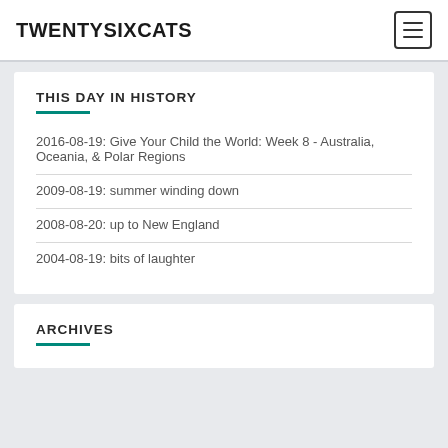TWENTYSIXCATS
THIS DAY IN HISTORY
2016-08-19: Give Your Child the World: Week 8 - Australia, Oceania, & Polar Regions
2009-08-19: summer winding down
2008-08-20: up to New England
2004-08-19: bits of laughter
ARCHIVES